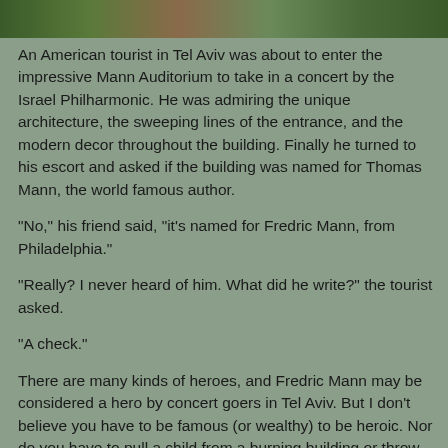[Figure (photo): Partial photo strip at top of page showing people or outdoor scene, cropped]
An American tourist in Tel Aviv was about to enter the impressive Mann Auditorium to take in a concert by the Israel Philharmonic. He was admiring the unique architecture, the sweeping lines of the entrance, and the modern decor throughout the building. Finally he turned to his escort and asked if the building was named for Thomas Mann, the world famous author.
"No," his friend said, "it's named for Fredric Mann, from Philadelphia."
"Really? I never heard of him. What did he write?" the tourist asked.
"A check."
There are many kinds of heroes, and Fredric Mann may be considered a hero by concert goers in Tel Aviv. But I don't believe you have to be famous (or wealthy) to be heroic. Nor do you have to pull a child from a burning building or throw yourself on a bomb to be a blo... [continues]